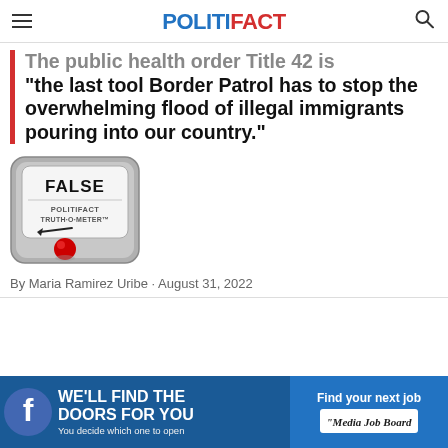POLITIFACT
The public health order Title 42 is "the last tool Border Patrol has to stop the overwhelming flood of illegal immigrants pouring into our country."
[Figure (illustration): PolitiFact Truth-O-Meter gauge showing FALSE rating, with red indicator at bottom left]
By Maria Ramirez Uribe · August 31, 2022
[Figure (infographic): Advertisement banner: Facebook 'We'll find the doors for you' ad on left, 'Find your next job - Media Job Board' on right]